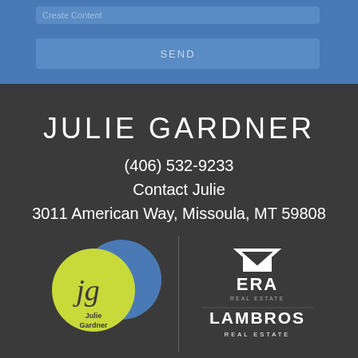[Figure (screenshot): Blue form section with message input placeholder text 'Create Content' and SEND button]
JULIE GARDNER
(406) 532-9233
Contact Julie
3011 American Way, Missoula, MT 59808
[Figure (logo): Julie Gardner Realtors logo - overlapping circles in yellow-green and blue with 'jg' monogram and 'Julie Gardner REALTORS' text]
[Figure (logo): ERA Real Estate and Lambros Real Estate logos stacked vertically]